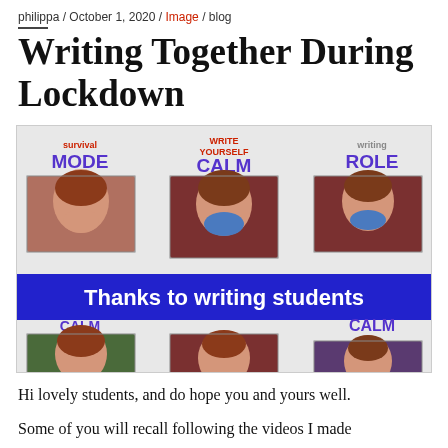philippa / October 1, 2020 / Image / blog
Writing Together During Lockdown
[Figure (photo): A collage of six video thumbnail photos of a woman with red hair, arranged in two rows of three. Each thumbnail is labeled with text: 'survival MODE', 'WRITE YOURSELF CALM', 'writing ROLE' in top row; 'CALM' labels in bottom row. A blue banner overlay reads 'Thanks to writing students'.]
Hi lovely students, and do hope you and yours well.
Some of you will recall following the videos I made